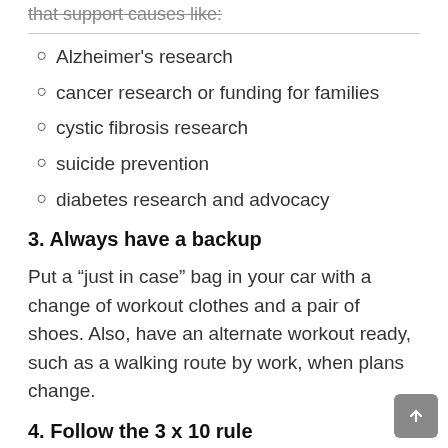that support causes like:
Alzheimer's research
cancer research or funding for families
cystic fibrosis research
suicide prevention
diabetes research and advocacy
3. Always have a backup
Put a “just in case” bag in your car with a change of workout clothes and a pair of shoes. Also, have an alternate workout ready, such as a walking route by work, when plans change.
4. Follow the 3 x 10 rule
Short on time? No problem. Take a 10-minute walk,